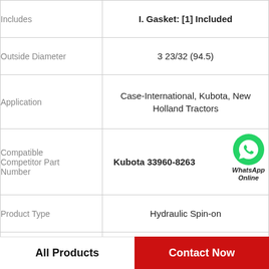| Property | Value |
| --- | --- |
| Includes | I. Gasket: [1] Included |
| Outside Diameter | 3 23/32 (94.5) |
| Application | Case-International, Kubota, New Holland Tractors |
| Compatible Competitor Part Number | Kubota 33960-8263 |
| Product Type | Hydraulic Spin-on |
| Thread Size | 1 1/8-16 |
| Length | 7 1/32 (178.6) |
[Figure (logo): WhatsApp Online green logo with text]
All Products
Contact Now